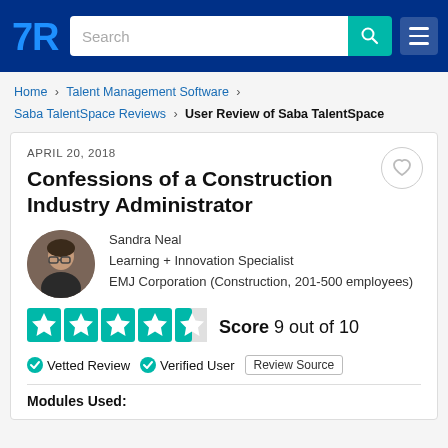TrustRadius navigation header with search bar
Home > Talent Management Software > Saba TalentSpace Reviews > User Review of Saba TalentSpace
APRIL 20, 2018
Confessions of a Construction Industry Administrator
Sandra Neal
Learning + Innovation Specialist
EMJ Corporation (Construction, 201-500 employees)
[Figure (other): Star rating: 4.5 out of 5 stars (teal stars). Score 9 out of 10]
Vetted Review   Verified User   Review Source
Modules Used: